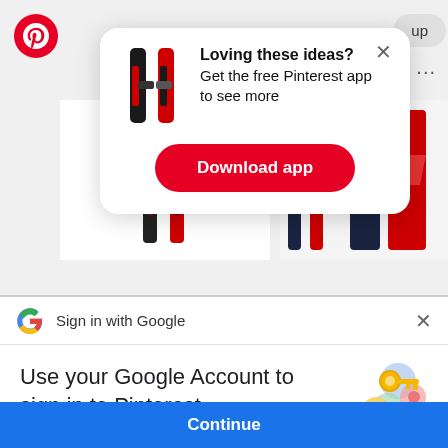[Figure (screenshot): Pinterest app download popup modal with ski images, bold heading 'Loving these ideas?', subtext 'Get the free Pinterest app to see more', and a red 'Download app' button]
Sign in with Google
Use your Google Account to sign in to Pinterest
No more passwords to remember. Signing in is fast, simple and secure.
[Figure (illustration): Google key/circles illustration for sign-in]
Continue